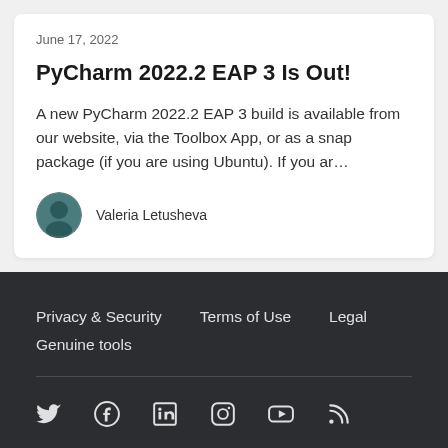June 17, 2022
PyCharm 2022.2 EAP 3 Is Out!
A new PyCharm 2022.2 EAP 3 build is available from our website, via the Toolbox App, or as a snap package (if you are using Ubuntu). If you ar…
Valeria Letusheva
Privacy & Security   Terms of Use   Legal
Genuine tools
Copyright © 2000–2022 JetBrains s.r.o.